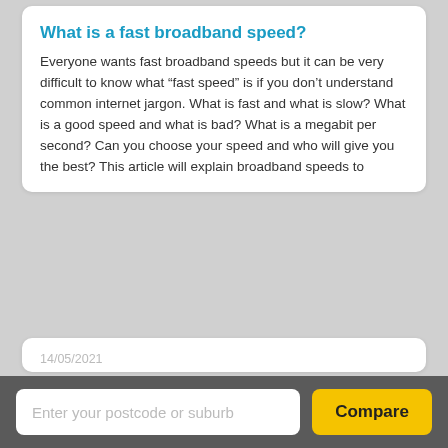What is a fast broadband speed?
Everyone wants fast broadband speeds but it can be very difficult to know what “fast speed” is if you don’t understand common internet jargon. What is fast and what is slow? What is a good speed and what is bad? What is a megabit per second? Can you choose your speed and who will give you the best? This article will explain broadband speeds to
14/05/2021
Whats is the best TPG Plan for you?
TPG Telecom Limited is an Australian Telecommunications and IT company that specialises in consumer and business internet services as well as mobile telephone services. TPG is Australia’s second largest internet service provider with a 22% market share. The company prides itself on simplicity, affordability, and reliability. Being one of the